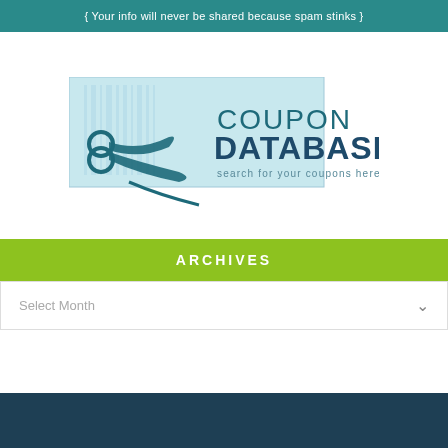{ Your info will never be shared because spam stinks }
[Figure (logo): Coupon Database logo with scissors and barcode graphic. Text reads 'COUPON DATABASE' and 'search for your coupons here!']
ARCHIVES
Select Month